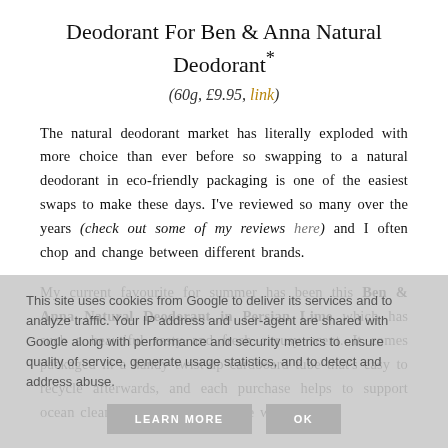Deodorant For Ben & Anna Natural Deodorant*
(60g, £9.95, link)
The natural deodorant market has literally exploded with more choice than ever before so swapping to a natural deodorant in eco-friendly packaging is one of the easiest swaps to make these days. I've reviewed so many over the years (check out some of my reviews here) and I often chop and change between different brands.
My current favourite for summer has been this Ben & Anna Natural Deodorant in Persian Lime which has such a beautiful zesty and fresh citrusy scent. It comes packaged in a handy twist-up cardboard tube that's easy to recycle afterwards, and each purchase helps to support ocean cleaning projects around the world.
This site uses cookies from Google to deliver its services and to analyze traffic. Your IP address and user-agent are shared with Google along with performance and security metrics to ensure quality of service, generate usage statistics, and to detect and address abuse.